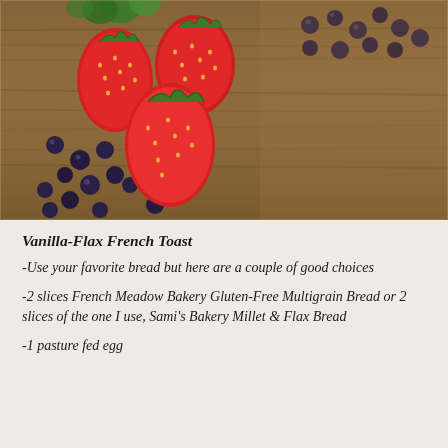[Figure (photo): Strawberries and blueberries arranged on a rustic wooden surface. Several large red strawberries with green leaves are grouped together, surrounded by scattered dark blueberries.]
Vanilla-Flax French Toast
-Use your favorite bread but here are a couple of good choices
-2 slices French Meadow Bakery Gluten-Free Multigrain Bread or 2 slices of the one I use, Sami's Bakery Millet & Flax Bread
-1 pasture fed egg